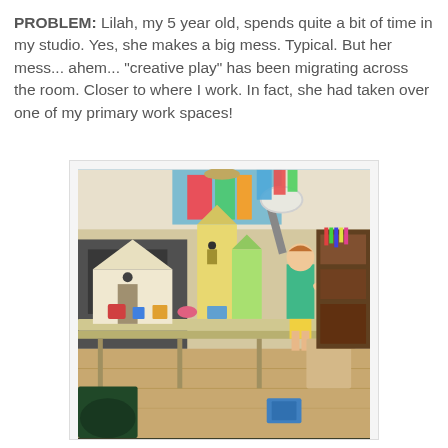PROBLEM: Lilah, my 5 year old, spends quite a bit of time in my studio. Yes, she makes a big mess. Typical. But her mess... ahem... "creative play" has been migrating across the room. Closer to where I work. In fact, she had taken over one of my primary work spaces!
[Figure (photo): A young girl in a teal shirt and yellow skirt standing at a long work table covered with birdhouses, dollhouses, art supplies, and various craft materials in what appears to be an art studio.]